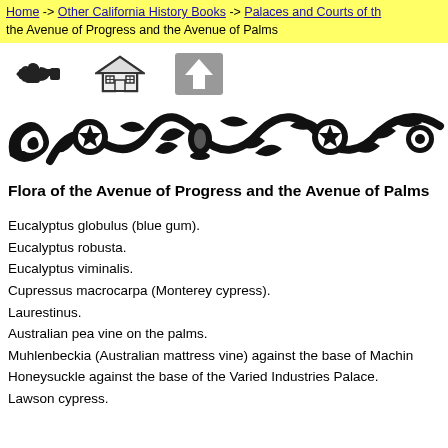Home -> Other California History Books -> Palaces and Courts of the the Avenue of Progress and the Avenue of Palms
[Figure (illustration): Left-pointing hand icon, house icon, and upward arrow icon used as navigation buttons]
[Figure (illustration): Ornate black floral/scroll decorative border banner]
Flora of the Avenue of Progress and the Avenue of Palms
Eucalyptus globulus (blue gum).
Eucalyptus robusta.
Eucalyptus viminalis.
Cupressus macrocarpa (Monterey cypress).
Laurestinus.
Australian pea vine on the palms.
Muhlenbeckia (Australian mattress vine) against the base of Machin
Honeysuckle against the base of the Varied Industries Palace.
Lawson cypress.